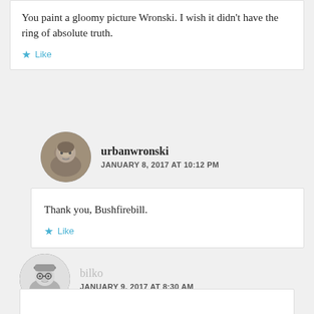You paint a gloomy picture Wronski. I wish it didn't have the ring of absolute truth.
Like
[Figure (photo): Round avatar photo of urbanwronski - older man in profile]
urbanwronski
JANUARY 8, 2017 AT 10:12 PM
Thank you, Bushfirebill.
Like
[Figure (photo): Round avatar photo of bilko - person wearing hat, black and white]
bilko
JANUARY 9, 2017 AT 8:30 AM